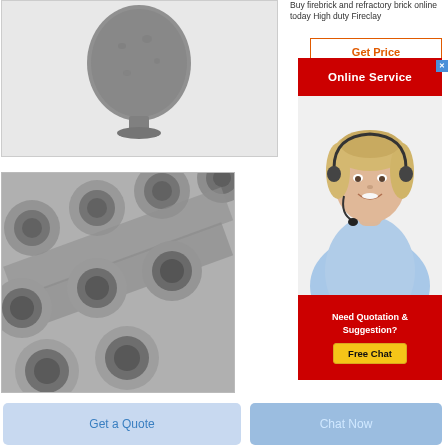[Figure (photo): Gray metallic powder/granule shaped object on a pedestal, against light gray background]
[Figure (photo): Stack of gray metallic cylindrical tubes with threaded ends, angled view]
Buy firebrick and refractory brick online today High duty Fireclay
[Figure (infographic): Get Price button with red border and orange text]
[Figure (infographic): Online Service red banner with white text and close button]
[Figure (photo): Female customer service agent with headset, smiling, light blue shirt]
[Figure (infographic): Need Quotation & Suggestion? Free Chat button on red background]
[Figure (infographic): Get a Quote light blue button]
[Figure (infographic): Chat Now blue button]